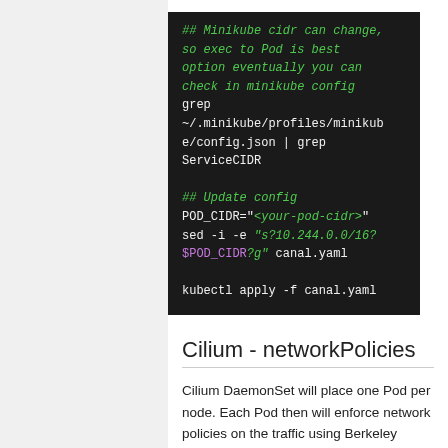[Figure (screenshot): Dark-themed code block showing shell commands: comment about minikube cidr, grep command for ServiceCIDR, comment about updating config, POD_CIDR assignment, sed command with purple/green highlighted string, and kubectl apply command]
Cilium - networkPolicies
Cilium DaemonSet will place one Pod per node. Each Pod then will enforce network policies on the traffic using Berkeley Packet Filter (BPF).
[Figure (screenshot): Partial dark-themed code block visible at bottom of page]